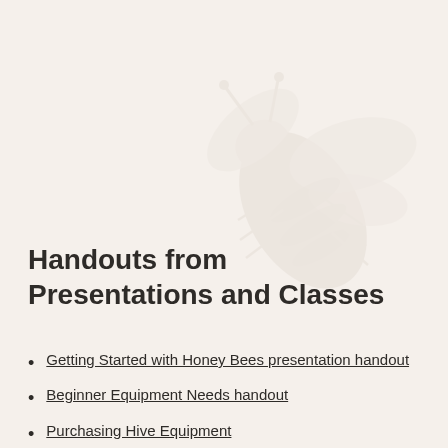[Figure (illustration): Faint watermark illustration of a honey bee in light gray/beige tones positioned in the upper right area of the page]
Handouts from Presentations and Classes
Getting Started with Honey Bees presentation handout
Beginner Equipment Needs handout
Purchasing Hive Equipment
Equipment Explained handout